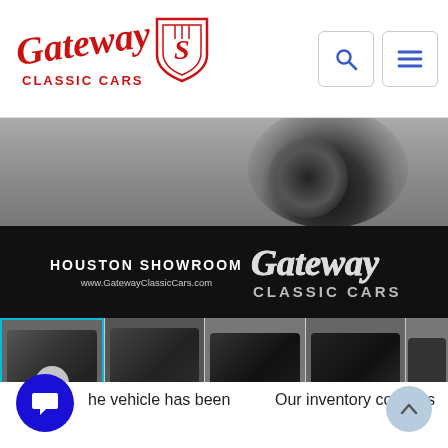[Figure (logo): Gateway Classic Cars logo - red script text with shield emblem]
[Figure (photo): Houston Showroom banner showing Gateway Classic Cars branding with a black car and the text HOUSTON SHOWROOM www.GatewayClassicCars.com]
[Figure (photo): Strip of 5 thumbnail photos of a black Plymouth Prowler convertible at Gateway Classic Cars Houston showroom, first thumbnail has a video play button overlay]
he vehicle has been
Our inventory contains